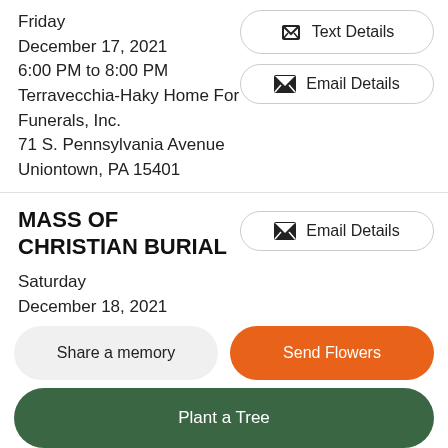Friday
December 17, 2021
6:00 PM to 8:00 PM
Terravecchia-Haky Home For Funerals, Inc.
71 S. Pennsylvania Avenue
Uniontown, PA 15401
Directions
Text Details
Email Details
MASS OF CHRISTIAN BURIAL
Email Details
Saturday
December 18, 2021
12:00 PM
Share a memory
Send Flowers
Plant a Tree